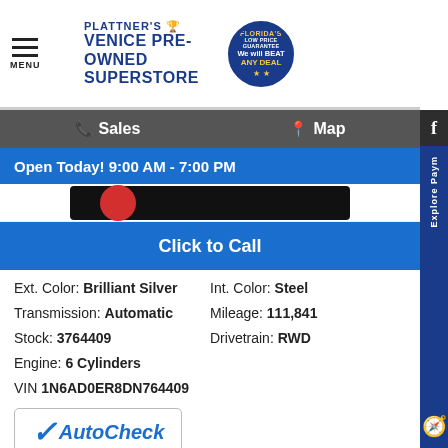MENU | PLATTNER'S VENICE PRE-OWNED SUPERSTORE | FLORIDA'S LOW PRICE GUARANTEE We will BEAT ANY DEAL
Sales   Map
Open Today! 9:00 AM - 7:00 PM
[Figure (screenshot): Partial red and black button/banner image strip]
Click to Call
| Ext. Color: | Brilliant Silver | Int. Color: | Steel |
| Transmission: | Automatic | Mileage: | 111,841 |
| Stock: | 3764409 | Drivetrain: | RWD |
| Engine: | 6 Cylinders |  |  |
| VIN | 1N6AD0ER8DN764409 |  |  |
[Figure (logo): AutoCheck vehicle history report logo]
WE WILL BEAT ANY USED CAR DEALS. PERIOD.
Value Your Trade
our BEST 000 or pay you $5000 for trying